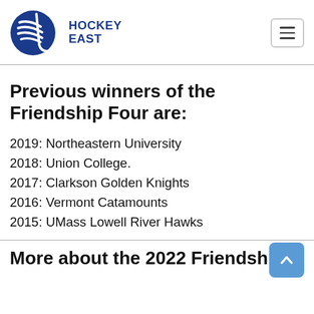[Figure (logo): Hockey East logo with hockey stick and puck graphic and text 'HOCKEY EAST' in blue]
Previous winners of the Friendship Four are:
2019: Northeastern University
2018: Union College.
2017: Clarkson Golden Knights
2016: Vermont Catamounts
2015: UMass Lowell River Hawks
More about the 2022 Friendship